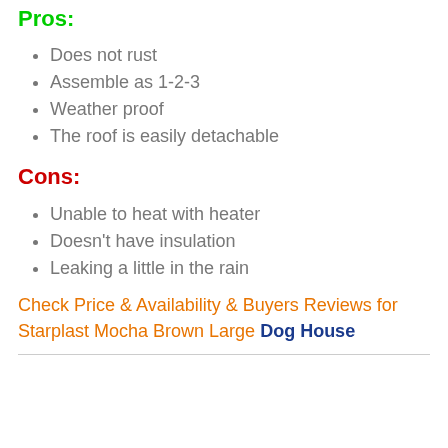Pros:
Does not rust
Assemble as 1-2-3
Weather proof
The roof is easily detachable
Cons:
Unable to heat with heater
Doesn't have insulation
Leaking a little in the rain
Check Price & Availability & Buyers Reviews for Starplast Mocha Brown Large Dog House